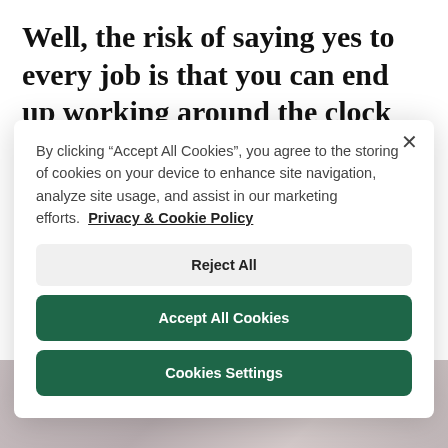Well, the risk of saying yes to every job is that you can end up working around the clock and
By clicking “Accept All Cookies”, you agree to the storing of cookies on your device to enhance site navigation, analyze site usage, and assist in our marketing efforts.  Privacy & Cookie Policy
Reject All
Accept All Cookies
Cookies Settings
[Figure (photo): Blurred/muted photo background at the bottom of the page, showing muted pink and gray tones.]